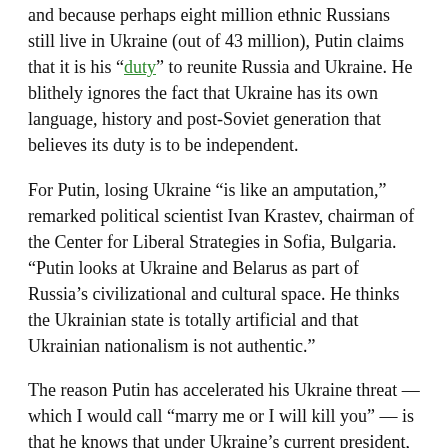and because perhaps eight million ethnic Russians still live in Ukraine (out of 43 million), Putin claims that it is his “duty” to reunite Russia and Ukraine. He blithely ignores the fact that Ukraine has its own language, history and post-Soviet generation that believes its duty is to be independent.
For Putin, losing Ukraine “is like an amputation,” remarked political scientist Ivan Krastev, chairman of the Center for Liberal Strategies in Sofia, Bulgaria. “Putin looks at Ukraine and Belarus as part of Russia’s civilizational and cultural space. He thinks the Ukrainian state is totally artificial and that Ukrainian nationalism is not authentic.”
The reason Putin has accelerated his Ukraine threat — which I would call “marry me or I will kill you” — is that he knows that under Ukraine’s current president, Volodymyr Zelensky, the process of Ukrainization has accelerated and the Russian language is being pushed out of schools and Russian television out of the media space.